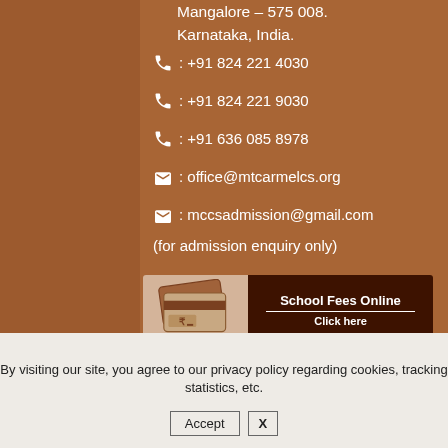Mangalore – 575 008.
Karnataka, India.
📞 : +91 824 221 4030
📞 : +91 824 221 9030
📞 : +91 636 085 8978
✉ : office@mtcarmelcs.org
✉ : mccsadmission@gmail.com
(for admission enquiry only)
[Figure (infographic): School Fees Online banner with credit card icon on left beige panel and text 'School Fees Online / Click here' on dark brown right panel]
By visiting our site, you agree to our privacy policy regarding cookies, tracking statistics, etc.
Accept  X